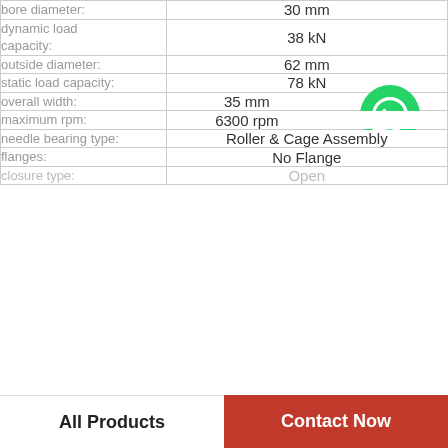| Property | Value |
| --- | --- |
| bore diameter: | 30 mm |
| dynamic load capacity: | 38 kN |
| outside diameter: | 62 mm |
| static load capacity: | 78 kN |
| overall width: | 35 mm |
| maximum rpm: | 6300 rpm |
| needle bearing type: | Roller & Cage Assembly |
| flanges: | No Flange |
| closure type: | Open |
[Figure (logo): WhatsApp green phone icon with text 'WhatsApp Online' in bold italic]
All Products
Contact Now